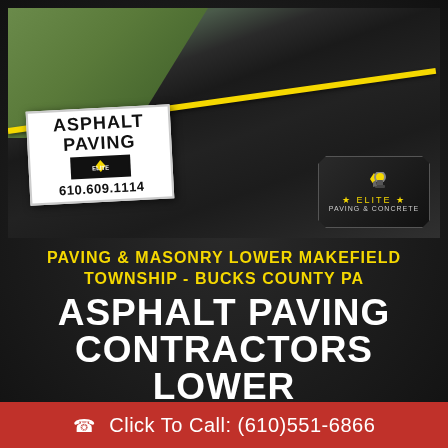[Figure (photo): Freshly paved asphalt driveway with yellow caution tape, a white yard sign reading 'ASPHALT PAVING 610.609.1114' with Elite logo, and the Elite Paving & Concrete badge logo in the bottom right corner of the photo.]
PAVING & MASONRY LOWER MAKEFIELD TOWNSHIP - BUCKS COUNTY PA
ASPHALT PAVING CONTRACTORS LOWER MAKEFIELD TOWNSHIP – BUCKS COUNTY PA
Click To Call: (610)551-6866